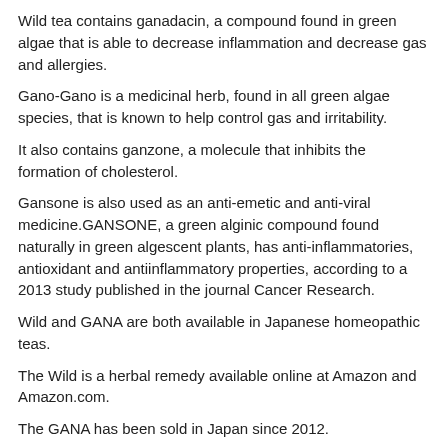Wild tea contains ganadacin, a compound found in green algae that is able to decrease inflammation and decrease gas and allergies.
Gano-Gano is a medicinal herb, found in all green algae species, that is known to help control gas and irritability.
It also contains ganzone, a molecule that inhibits the formation of cholesterol.
Gansone is also used as an anti-emetic and anti-viral medicine.GANSONE, a green alginic compound found naturally in green algescent plants, has anti-inflammatories, antioxidant and antiinflammatory properties, according to a 2013 study published in the journal Cancer Research.
Wild and GANA are both available in Japanese homeopathic teas.
The Wild is a herbal remedy available online at Amazon and Amazon.com.
The GANA has been sold in Japan since 2012.
Wild sells its tea for $17.99 for 2 ounces.
Wild also sells a 30-day trial trial for $29.99.
Wild also sells GANOBASA, a 30 day trial of GANOCODO for $99.99 at Amazon.
Gania, a traditional Japanese tea that is believed in the indigenous cultures of Asia, is another traditional herbal tea that can relieve gas in